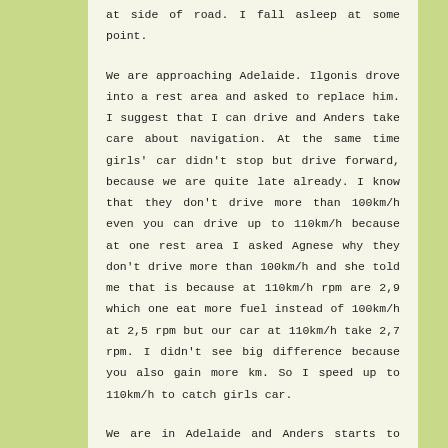at side of road. I fall asleep at some point.
We are approaching Adelaide. Ilgonis drove into a rest area and asked to replace him. I suggest that I can drive and Anders take care about navigation. At the same time girls' car didn't stop but drive forward, because we are quite late already. I know that they don't drive more than 100km/h even you can drive up to 110km/h because at one rest area I asked Agnese why they don't drive more than 100km/h and she told me that is because at 110km/h rpm are 2,9 which one eat more fuel instead of 100km/h at 2,5 rpm but our car at 110km/h take 2,7 rpm. I didn't see big difference because you also gain more km. So I speed up to 110km/h to catch girls car.
We are in Adelaide and Anders starts to navigate with google map and told me directions. Soon we are in road construction site where they build bridges and we need alternative route. Road is small and tricky but we manage get through it. We are finally approaching destination. On the last corner girls are ringing us and asking where